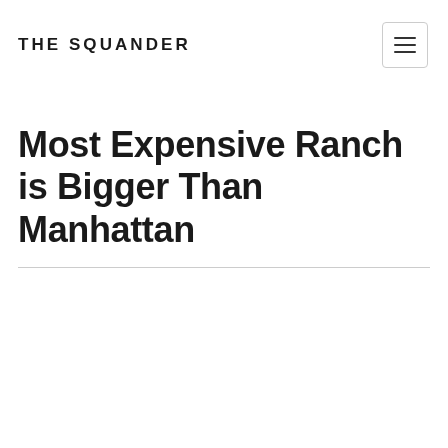THE SQUANDER
Most Expensive Ranch is Bigger Than Manhattan